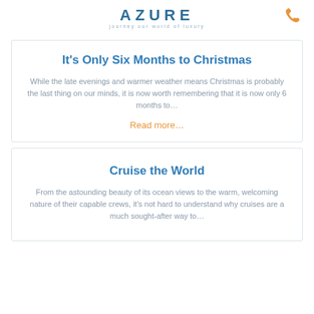AZURE journey our world of luxury
It's Only Six Months to Christmas
While the late evenings and warmer weather means Christmas is probably the last thing on our minds, it is now worth remembering that it is now only 6 months to…
Read more…
Cruise the World
From the astounding beauty of its ocean views to the warm, welcoming nature of their capable crews, it's not hard to understand why cruises are a much sought-after way to…